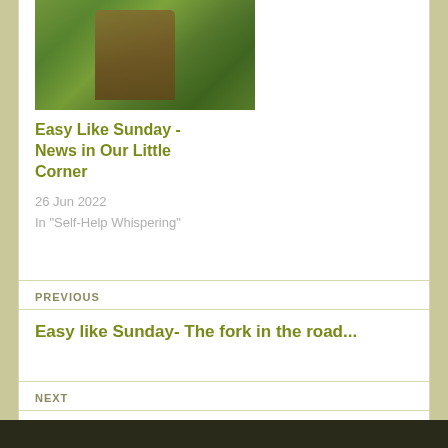[Figure (photo): Outdoor garden/nature photo showing trees with green foliage]
Easy Like Sunday - News in Our Little Corner
26 Jun 2022
In "Self-Help Whispering"
PREVIOUS
Easy like Sunday- The fork in the road...
NEXT
YouTube Tuesdays – As God is my witness...